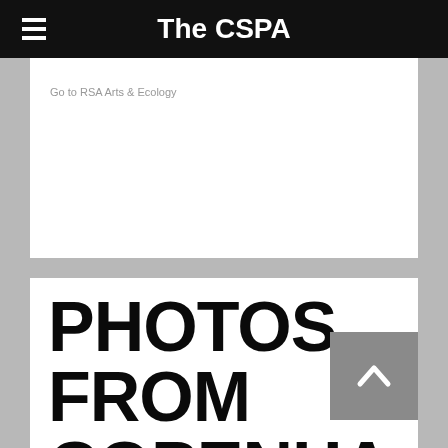The CSPA
Go to RSA Arts & Ecology
PHOTOS FROM COPENHAGEN #COP15